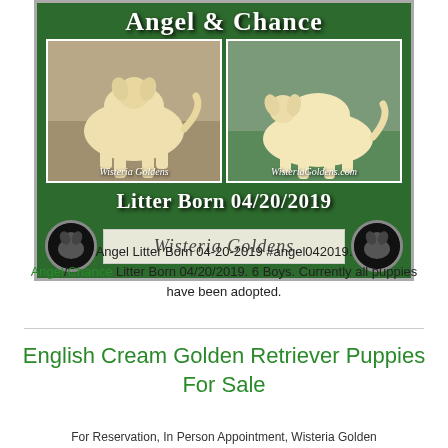[Figure (photo): Banner image with dark green grass/hedge background showing two Golden Retriever dogs labeled Angel and Chance. Text reads 'Angel & Chance', 'Litter Born 04/20/2019', and 'Wisteria Goldens' with circular logo medallions on either side.]
Angel Litter Born 04-20-2019 #angel042019. Angel/Chance Litter Born 04/20/2019. 6 Boys. Currently all puppies have been adopted.
English Cream Golden Retriever Puppies For Sale
For Reservation, In Person Appointment, Wisteria Golden